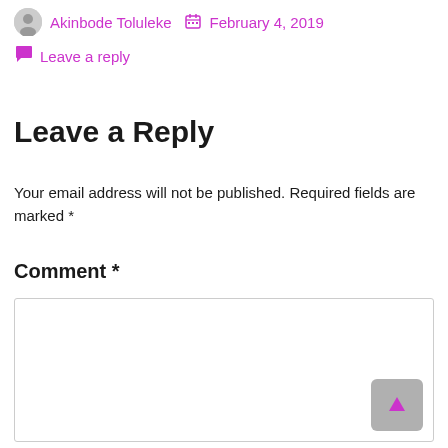Akinbode Toluleke  February 4, 2019
Leave a reply
Leave a Reply
Your email address will not be published. Required fields are marked *
Comment *